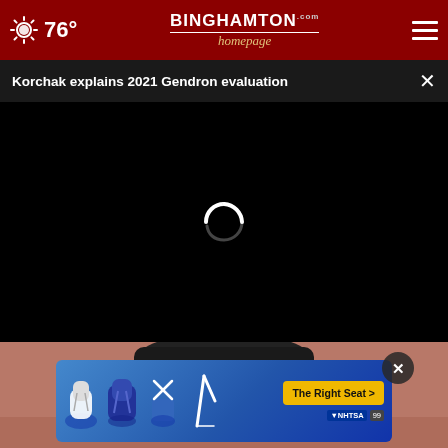76° — Binghamton Homepage — Menu
Korchak explains 2021 Gendron evaluation
[Figure (screenshot): Video player loading spinner on black background]
[Figure (photo): Partial photo of a cat visible at the bottom of the page]
[Figure (infographic): NHTSA car seat safety advertisement banner with blue background, car seat icons, and The Right Seat button in yellow]